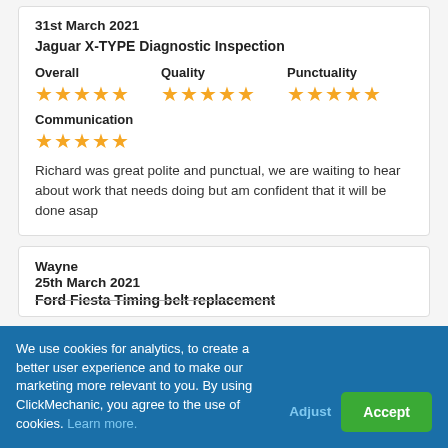31st March 2021
Jaguar X-TYPE Diagnostic Inspection
Overall ★★★★★   Quality ★★★★★   Punctuality ★★★★★
Communication ★★★★★
Richard was great polite and punctual, we are waiting to hear about work that needs doing but am confident that it will be done asap
Wayne
25th March 2021
Ford Fiesta Timing belt replacement
We use cookies for analytics, to create a better user experience and to make our marketing more relevant to you. By using ClickMechanic, you agree to the use of cookies. Learn more.